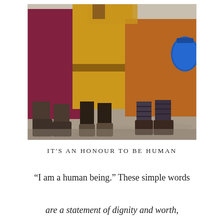[Figure (photo): Three people wearing traditional Mongolian robes (deels) in colors of dark maroon/burgundy, golden yellow, and orange-brown, standing together outdoors on dry ground. A blue bag is visible on the right. Only their lower bodies and feet are visible, wearing boots and dark socks. The setting appears to be an open field or gathering area.]
IT'S AN HONOUR TO BE HUMAN
“I am a human being.” These simple words
are a statement of dignity and worth,